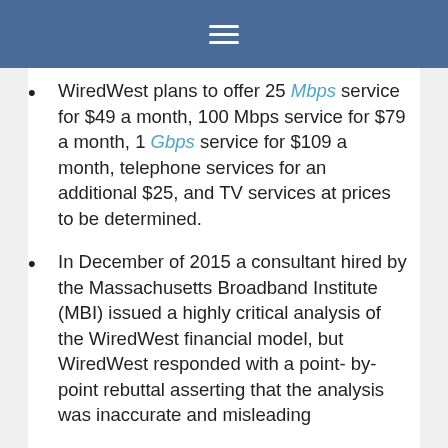≡
WiredWest plans to offer 25 Mbps service for $49 a month, 100 Mbps service for $79 a month, 1 Gbps service for $109 a month, telephone services for an additional $25, and TV services at prices to be determined.
In December of 2015 a consultant hired by the Massachusetts Broadband Institute (MBI) issued a highly critical analysis of the WiredWest financial model, but WiredWest responded with a point- by-point rebuttal asserting that the analysis was inaccurate and misleading